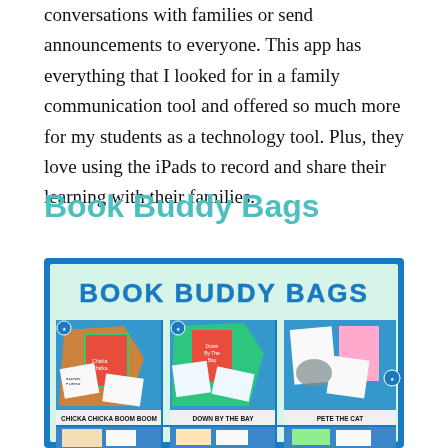conversations with families or send announcements to everyone. This app has everything that I looked for in a family communication tool and offered so much more for my students as a technology tool. Plus, they love using the iPads to record and share their learning with their families.
Book Buddy Bags
[Figure (photo): A colorful educational poster titled 'BOOK BUDDY BAGS' with a blue border on a light green background. It shows three rows of book-themed activity bag photos. Visible titles include 'CHICKA CHICKA BOOM BOOM', 'DOWN BY THE BAY', and 'PETE THE CAT'. Each bag photo shows a book cover and related activity worksheets and materials spread out on a blue surface.]